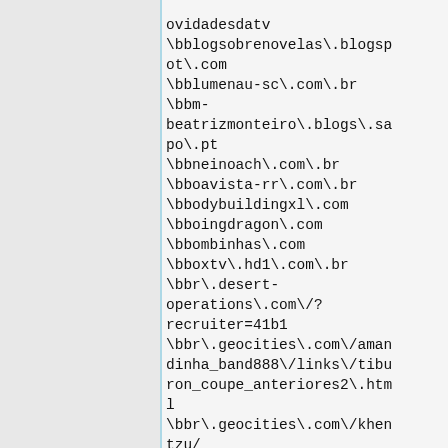ovidadesdatv
\bblogsobrenovelas\.blogspot\.com
\bblumenau-sc\.com\.br
\bbm-beatrizmonteiro\.blogs\.sapo\.pt
\bbneinoach\.com\.br
\bboavista-rr\.com\.br
\bbodybuildingxl\.com
\bboingdragon\.com
\bbombinhas\.com
\bboxtv\.hd1\.com\.br
\bbr\.desert-operations\.com\/?recruiter=41b1
\bbr\.geocities\.com\/amandinha_band888\/links\/tiburon_coupe_anteriores2\.html
\bbr\.geocities\.com\/khentzu/
\bbr2\.biz
\bbrasaoweb\.com
\bbrasilcombate\.com\.br